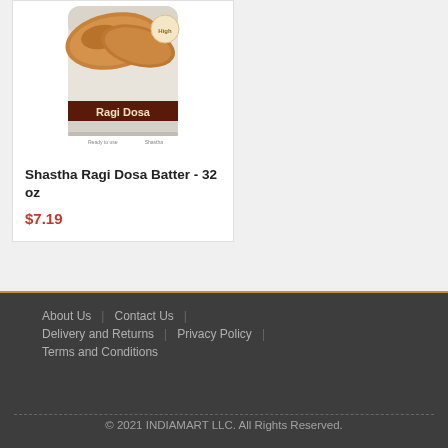[Figure (photo): Product photo of Shastha Ragi Dosa Batter container, showing golden-brown crispy dosa bread on top and a dark maroon label reading 'Ragi Dosa' at the bottom of the container.]
Shastha Ragi Dosa Batter - 32 oz
$7.19
About Us | Contact Us | Delivery and Returns | Privacy Policy | Terms and Conditions
© 2021 INDIAMART LLC. All Rights Reserved.